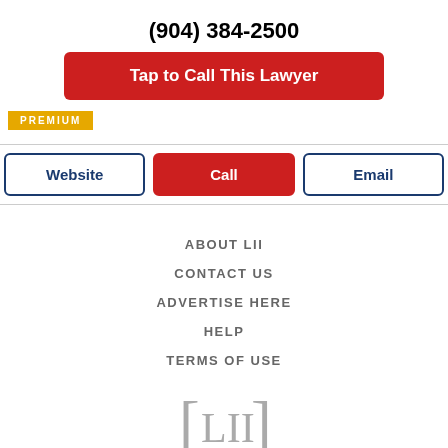(904) 384-2500
Tap to Call This Lawyer
[Figure (logo): PREMIUM badge in gold/yellow background with white uppercase text]
Website | Call | Email
ABOUT LII
CONTACT US
ADVERTISE HERE
HELP
TERMS OF USE
[Figure (logo): LII logo with square brackets around LII text in gray]
[Figure (logo): Justia logo with white JUSTIA text on dark blue rounded rectangle background]